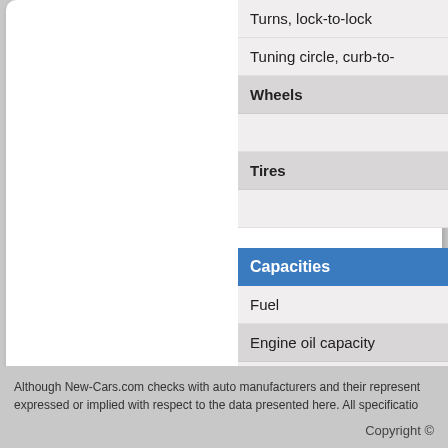| Specification |
| --- |
| Turns, lock-to-lock |
| Tuning circle, curb-to- |
| Wheels |
| Tires |
| Capacities |
| Fuel |
| Engine oil capacity |
| Coolant capacity |
| Trans. oil capacity |
| Towing capacity |
| Fuel Efficiency (city / highway) |
Although New-Cars.com checks with auto manufacturers and their represent expressed or implied with respect to the data presented here. All specificatio
Copyright ©